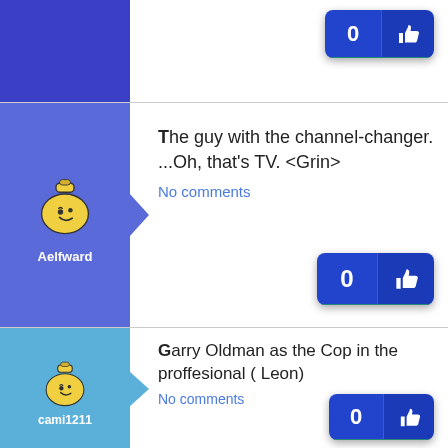[Figure (screenshot): Top partial comment row with a like button showing 0 and thumbs up icon]
The guy with the channel-changer. ...Oh, that's TV. <Grin>
No comments
Aelfward
Garry Oldman as the Cop in the proffesional ( Leon)
No comments
cami1211